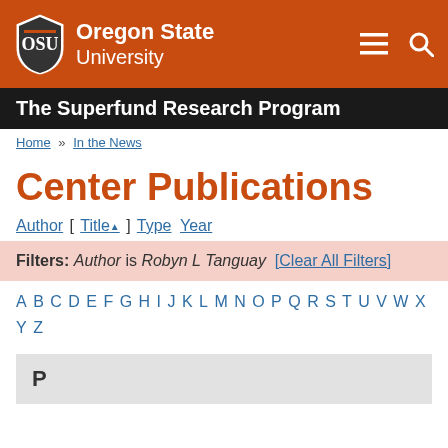Oregon State University
The Superfund Research Program
Home » In the News
Center Publications
Author [ Title ] Type Year
Filters: Author is Robyn L Tanguay [Clear All Filters]
A B C D E F G H I J K L M N O P Q R S T U V W X Y Z
P